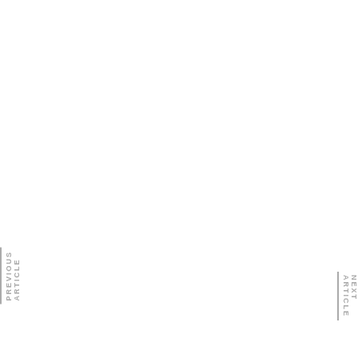PREVIOUS ARTICLE
NEXT ARTICLE
[Figure (screenshot): Embedded video player overlay showing 'Samsung TV Won't Turn On (You Sho...' with message 'No compatible source was found for this media.' and a close button, with watermark text 'How to Find...' partially visible]